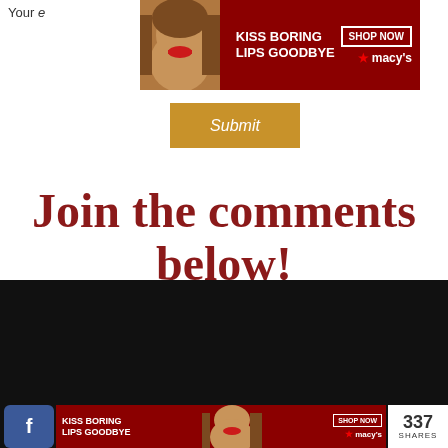Your e
[Figure (screenshot): Macy's advertisement banner: KISS BORING LIPS GOODBYE with SHOP NOW button and Macy's star logo, featuring a woman's face with red lips]
[Figure (screenshot): Submit button (orange/gold color)]
Join the comments below!
[Figure (screenshot): Mueller advertisement: 37 HOME AND KITCHEN ITEMS EVERYONE SHOULD OWN with badge showing 22, close button, and X button]
[Figure (screenshot): Bottom bar with Facebook share button (337 SHARES) and Macy's KISS BORING LIPS GOODBYE advertisement]